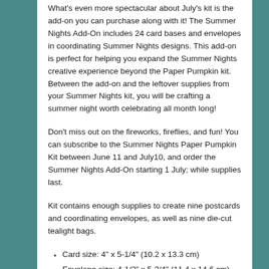What's even more spectacular about July's kit is the add-on you can purchase along with it! The Summer Nights Add-On includes 24 card bases and envelopes in coordinating Summer Nights designs. This add-on is perfect for helping you expand the Summer Nights creative experience beyond the Paper Pumpkin kit. Between the add-on and the leftover supplies from your Summer Nights kit, you will be crafting a summer night worth celebrating all month long!
Don't miss out on the fireworks, fireflies, and fun! You can subscribe to the Summer Nights Paper Pumpkin Kit between June 11 and July10, and order the Summer Nights Add-On starting 1 July; while supplies last.
Kit contains enough supplies to create nine postcards and coordinating envelopes, as well as nine die-cut tealight bags.
Card size: 4" x 5-1/4" (10.2 x 13.3 cm)
Envelope size: 4-1/2" x 5-3/4" (11.4 x 14.6 cm)